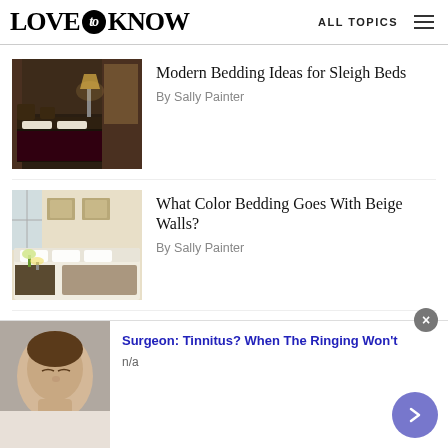LOVE to KNOW | ALL TOPICS
[Figure (photo): Dark bedroom with sleigh bed, curtains, and warm lighting]
Modern Bedding Ideas for Sleigh Beds
By Sally Painter
[Figure (photo): Bright bedroom with beige walls, white sofa, and yellow flowers]
What Color Bedding Goes With Beige Walls?
By Sally Painter
[Figure (photo): Bedroom photo partially visible — article about oversized bedspreads]
Finding Oversized Bedspreads
[Figure (photo): Advertisement banner: man lying down, tinnitus ad]
Surgeon: Tinnitus? When The Ringing Won't
n/a